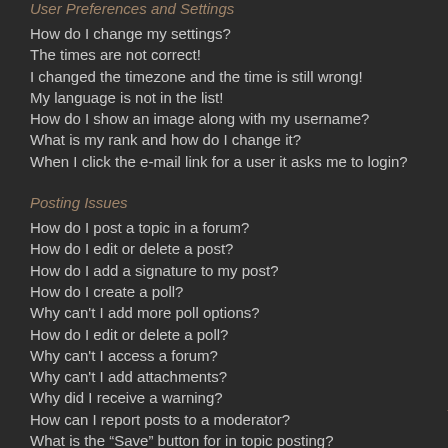User Preferences and Settings
How do I change my settings?
The times are not correct!
I changed the timezone and the time is still wrong!
My language is not in the list!
How do I show an image along with my username?
What is my rank and how do I change it?
When I click the e-mail link for a user it asks me to login?
Posting Issues
How do I post a topic in a forum?
How do I edit or delete a post?
How do I add a signature to my post?
How do I create a poll?
Why can't I add more poll options?
How do I edit or delete a poll?
Why can't I access a forum?
Why can't I add attachments?
Why did I receive a warning?
How can I report posts to a moderator?
What is the "Save" button for in topic posting?
Why does my post need to be approved?
How do I bump my topic?
Formatting and Topic Types
What is BBCode?
Can I use HTML?
What are Smilies?
Can I post images?
Friends and Foes
What are my Friends...
How can I add / remo...
Searching the Foru...
How can I search a fo...
Why does my search...
Why does my search...
How do I search for m...
How can I find my ow...
Topic Subscription...
What is the difference...
How do I subscribe to...
How do I remove my s...
Attachments
What attachments are...
How do I find all my a...
phpBB 3 Issues
Who wrote this bulleti...
Why isn't X feature av...
Who do I contact abo...